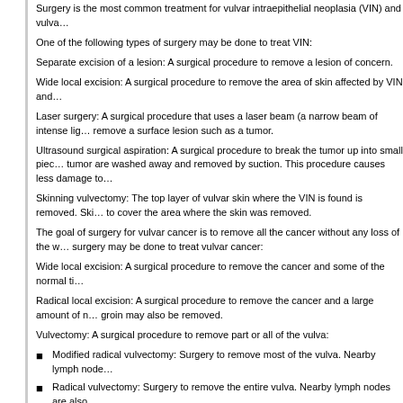Surgery is the most common treatment for vulvar intraepithelial neoplasia (VIN) and vulva...
One of the following types of surgery may be done to treat VIN:
Separate excision of a lesion: A surgical procedure to remove a lesion of concern.
Wide local excision: A surgical procedure to remove the area of skin affected by VIN and...
Laser surgery: A surgical procedure that uses a laser beam (a narrow beam of intense lig... remove a surface lesion such as a tumor.
Ultrasound surgical aspiration: A surgical procedure to break the tumor up into small pie... tumor are washed away and removed by suction. This procedure causes less damage to...
Skinning vulvectomy: The top layer of vulvar skin where the VIN is found is removed. Ski... to cover the area where the skin was removed.
The goal of surgery for vulvar cancer is to remove all the cancer without any loss of the w... surgery may be done to treat vulvar cancer:
Wide local excision: A surgical procedure to remove the cancer and some of the normal ti...
Radical local excision: A surgical procedure to remove the cancer and a large amount of n... groin may also be removed.
Vulvectomy: A surgical procedure to remove part or all of the vulva:
Modified radical vulvectomy: Surgery to remove most of the vulva. Nearby lymph node...
Radical vulvectomy: Surgery to remove the entire vulva. Nearby lymph nodes are also...
Pelvic exenteration: A surgical procedure to remove the lower colon, rectum, and bladder... nodes are also removed. Artificial openings (stoma) are made for urine and stool to flow f...
After the doctor removes all the cancer that can be seen at the time of the surgery, some...